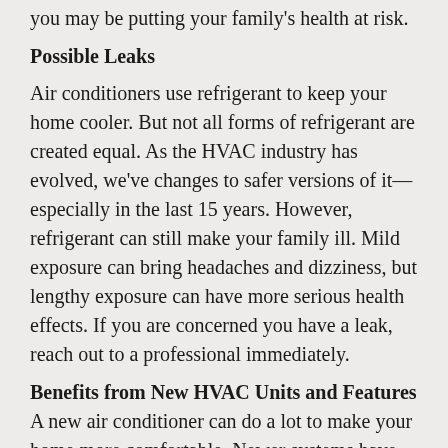you may be putting your family's health at risk.
Possible Leaks
Air conditioners use refrigerant to keep your home cooler. But not all forms of refrigerant are created equal. As the HVAC industry has evolved, we've changes to safer versions of it—especially in the last 15 years. However, refrigerant can still make your family ill. Mild exposure can bring headaches and dizziness, but lengthy exposure can have more serious health effects. If you are concerned you have a leak, reach out to a professional immediately.
Benefits from New HVAC Units and Features
A new air conditioner can do a lot to make your home more comfortable. Newer systems have